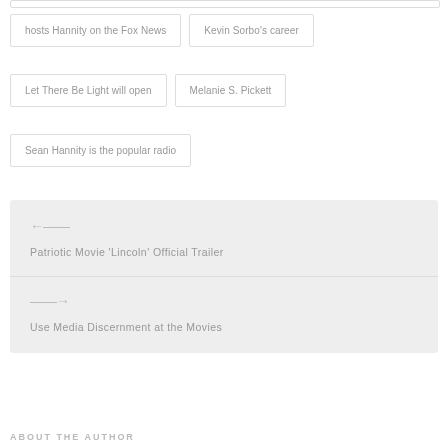hosts Hannity on the Fox News
Kevin Sorbo's career
Let There Be Light will open
Melanie S. Pickett
Sean Hannity is the popular radio
← Patriotic Movie 'Lincoln' Official Trailer
→ Use Media Discernment at the Movies
ABOUT THE AUTHOR